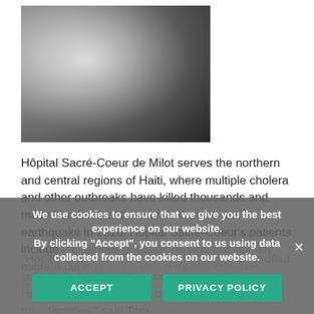[Figure (photo): Black and white photograph of a young Haitian child looking at the camera, wearing a white shirt, blurred background]
Hôpital Sacré-Coeur de Milot serves the northern and central regions of Haiti, where multiple cholera and other outbreaks have killed thousands and made hundreds of thousands ill since the earthquake in 2010. Hôpital Sacré-Coeur's patients include indigenous populations who traditionally migrate during natural disasters and disease outbreaks. "Hôpital Sacré-Coeur's new temperature-controlled cold chain facility will not only serve patients at Hôpital Sacré-Coeur, but others in remote medical tre... facilities," said Tom
We use cookies to ensure that we give you the best experience on our website. By clicking "Accept", you consent to us using data collected from the cookies on our website.